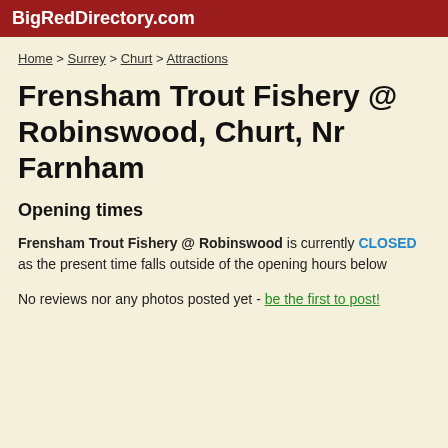BigRedDirectory.com
Home > Surrey > Churt > Attractions
Frensham Trout Fishery @ Robinswood, Churt, Nr Farnham
Opening times
Frensham Trout Fishery @ Robinswood is currently CLOSED as the present time falls outside of the opening hours below
No reviews nor any photos posted yet - be the first to post!